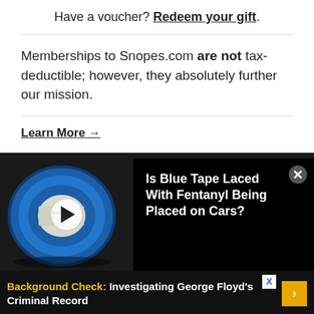Have a voucher? Redeem your gift.
Memberships to Snopes.com are not tax-deductible; however, they absolutely further our mission.
Learn More →
[Figure (screenshot): Video thumbnail showing a roll of blue Scotch masking tape on a dark background, with a white circular play button overlay]
Is Blue Tape Laced With Fentanyl Being Placed on Cars?
Background Check: Investigating George Floyd's Criminal Record